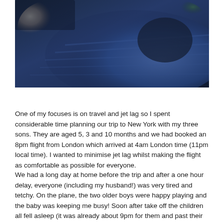[Figure (photo): A dimly lit photo showing children sleeping or resting on a plane, with a blue blanket/seat cover visible and a stuffed animal toy in the upper left area.]
One of my focuses is on travel and jet lag so I spent considerable time planning our trip to New York with my three sons. They are aged 5, 3 and 10 months and we had booked an 8pm flight from London which arrived at 4am London time (11pm local time). I wanted to minimise jet lag whilst making the flight as comfortable as possible for everyone.
We had a long day at home before the trip and after a one hour delay, everyone (including my husband!) was very tired and tetchy. On the plane, the two older boys were happy playing and the baby was keeping me busy! Soon after take off the children all fell asleep (it was already about 9pm for them and past their bedtime). I had remarks from